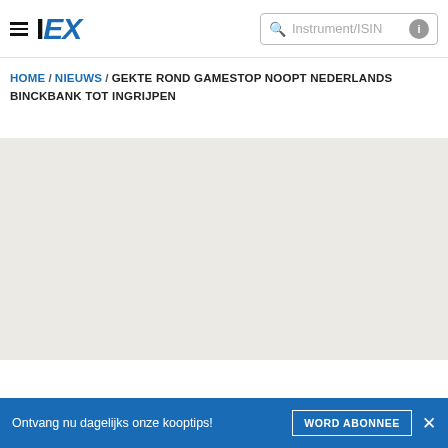IEX | Instrument/ISIN
HOME / NIEUWS / GEKTE ROND GAMESTOP NOOPT NEDERLANDS BINCKBANK TOT INGRIJPEN
Ontvang nu dagelijks onze kooptips! WORD ABONNEE ×